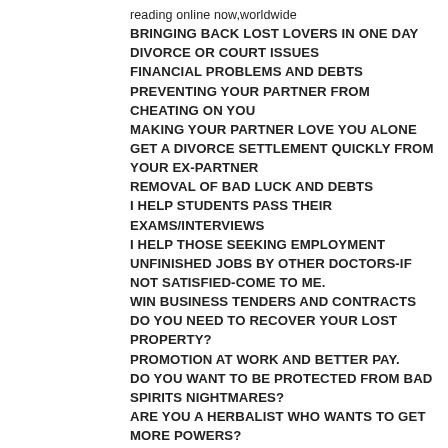reading online now,worldwide
BRINGING BACK LOST LOVERS IN ONE DAY
DIVORCE OR COURT ISSUES
FINANCIAL PROBLEMS AND DEBTS
PREVENTING YOUR PARTNER FROM CHEATING ON YOU
MAKING YOUR PARTNER LOVE YOU ALONE
GET A DIVORCE SETTLEMENT QUICKLY FROM YOUR EX-PARTNER
REMOVAL OF BAD LUCK AND DEBTS
I HELP STUDENTS PASS THEIR EXAMS/INTERVIEWS
I HELP THOSE SEEKING EMPLOYMENT
UNFINISHED JOBS BY OTHER DOCTORS-IF NOT SATISFIED-COME TO ME.
WIN BUSINESS TENDERS AND CONTRACTS
DO YOU NEED TO RECOVER YOUR LOST PROPERTY?
PROMOTION AT WORK AND BETTER PAY.
DO YOU WANT TO BE PROTECTED FROM BAD SPIRITS NIGHTMARES?
ARE YOU A HERBALIST WHO WANTS TO GET MORE POWERS?
WHY YOU CAN'T KEEP MONEY OR LOVERS?
WHY YOU HAVE A LOT OF ENEMIES?
WHY YOU ARE FIRED REGULARLY ON JOBS. RANIA ABDALLAH
TRADITIONAL HEALER. I individually speak with thousands of